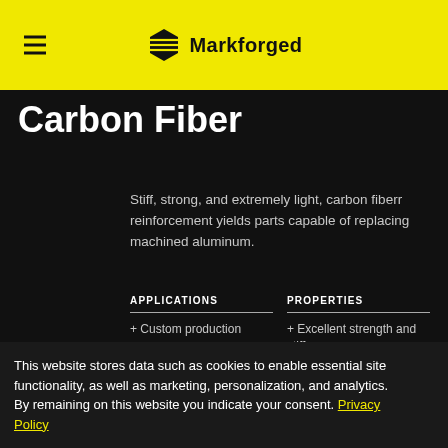Markforged
Carbon Fiber
Stiff, strong, and extremely light, carbon fiberr reinforcement yields parts capable of replacing machined aluminum.
APPLICATIONS
+ Custom production
+ Bridge production
PROPERTIES
+ Excellent strength and stiffness
This website stores data such as cookies to enable essential site functionality, as well as marketing, personalization, and analytics. By remaining on this website you indicate your consent. Privacy Policy